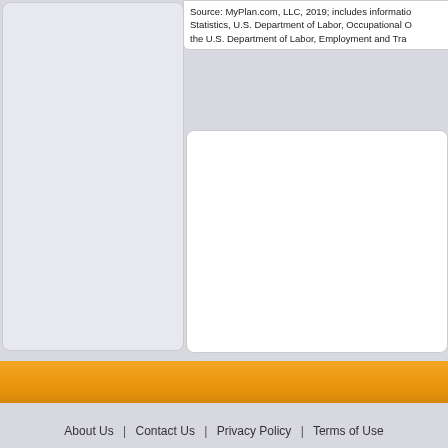Source: MyPlan.com, LLC, 2019; includes information from Bureau of Labor Statistics, U.S. Department of Labor, Occupational Outlook Handbook; and the U.S. Department of Labor, Employment and Training Administration.
About Us  |  Contact Us  |  Privacy Policy  |  Terms of Use